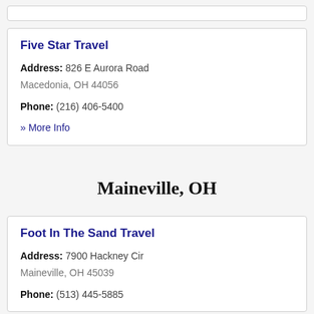Five Star Travel
Address: 826 E Aurora Road Macedonia, OH 44056
Phone: (216) 406-5400
» More Info
Maineville, OH
Foot In The Sand Travel
Address: 7900 Hackney Cir Maineville, OH 45039
Phone: (513) 445-5885